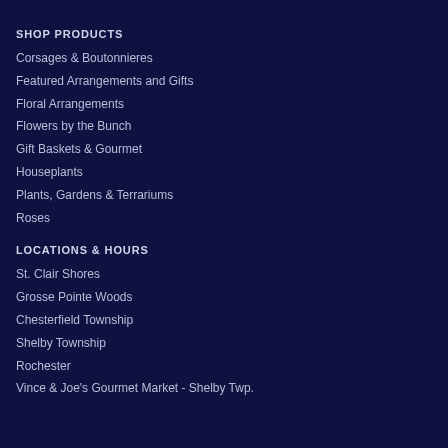SHOP PRODUCTS
Corsages & Boutonnieres
Featured Arrangements and Gifts
Floral Arrangements
Flowers by the Bunch
Gift Baskets & Gourmet
Houseplants
Plants, Gardens & Terrariums
Roses
LOCATIONS & HOURS
St. Clair Shores
Grosse Pointe Woods
Chesterfield Township
Shelby Township
Rochester
Vince & Joe's Gourmet Market - Shelby Twp.